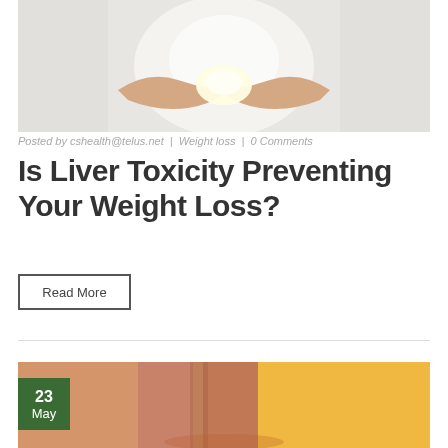[Figure (photo): Doctor in white coat holding glowing light in cupped hands]
Posted by cshealth@telus.net | Weight loss | 0 Comments
Is Liver Toxicity Preventing Your Weight Loss?
Read More
[Figure (photo): Person's legs standing on floor, lower body shot with orange/warm background, date badge showing 23 May]